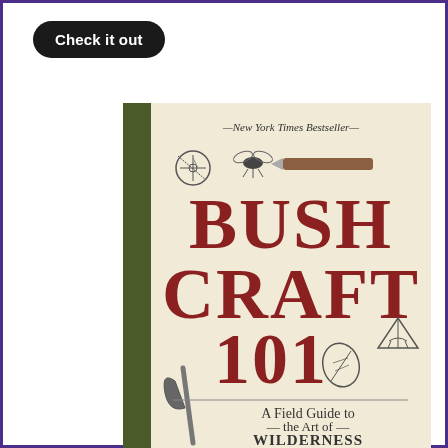Check it out
[Figure (photo): Book cover of Bushcraft 101: A Field Guide to the Art of Wilderness Survival, New York Times Bestseller, showing illustrations of compass, fly, knife, axe, leaf, and tent]